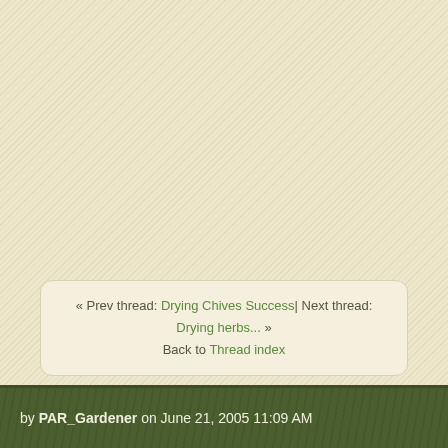« Prev thread: Drying Chives Success| Next thread: Drying herbs... » Back to Thread index
by PAR_Gardener on June 21, 2005 11:09 AM